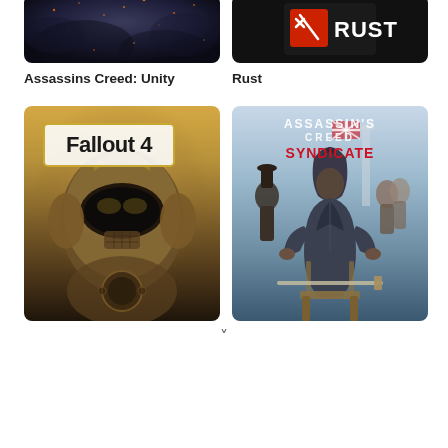[Figure (screenshot): Game cover art for Assassins Creed: Unity - dark smoky scene with embers]
Assassins Creed: Unity
[Figure (screenshot): Game cover art for Rust - dark background with Rust logo (red square with shovel icon and white RUST text)]
Rust
[Figure (screenshot): Game cover art for Fallout 4 - power armor helmet in golden/bronze tones with Fallout 4 logo]
[Figure (screenshot): Game cover art for Assassin's Creed Syndicate - hooded assassin sitting on throne with group of characters behind, Big Ben visible]
v